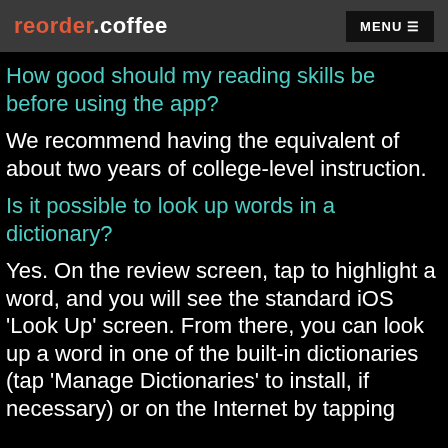reorder.coffee  MENU
How good should my reading skills be before using the app?
We recommend having the equivalent of about two years of college-level instruction.
Is it possible to look up words in a dictionary?
Yes. On the review screen, tap to highlight a word, and you will see the standard iOS 'Look Up' screen. From there, you can look up a word in one of the built-in dictionaries (tap 'Manage Dictionaries' to install, if necessary) or on the Internet by tapping